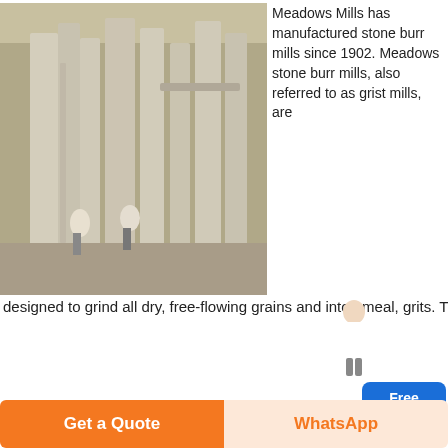[Figure (photo): Interior of an industrial stone burr mill facility with large cylindrical milling machines and two workers visible]
Meadows Mills has manufactured stone burr mills since 1902. Meadows stone burr mills, also referred to as grist mills, are designed to grind all dry, free-flowing grains and into , meal, grits. The millstones used in all Meadows stone burr mills are cut from
[Figure (photo): Interior of a large industrial mill building with metal machinery and overhead steel structure]
review of meadows mills stone burr
Meadows Stone Burr Grain Mills Grist Mill
Get Price
Free chat
Get a Quote
WhatsApp